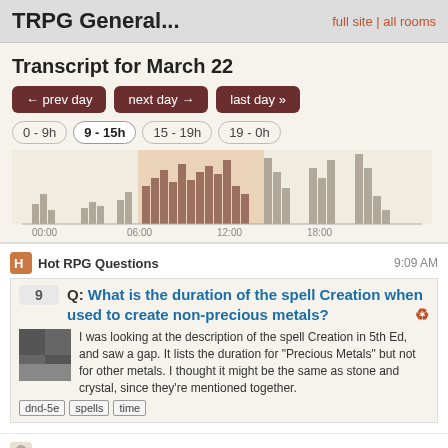TRPG General...    full site | all rooms
Transcript for March 22
← prev day | next day → | last day »
0 - 9h | 9 - 15h | 15 - 19h | 19 - 0h
[Figure (bar-chart): Bar chart showing chat activity throughout the day, with highlighted section around 9-15h]
Hot RPG Questions    9:09 AM
9   Q: What is the duration of the spell Creation when used to create non-precious metals?
I was looking at the description of the spell Creation in 5th Ed, and saw a gap. It lists the duration for "Precious Metals" but not for other metals. I thought it might be the same as stone and crystal, since they're mentioned together.
dnd-5e   spells   time
vicky_molokh    9:09 AM
How does the bot work?
@HotRPGQuestions I see my question became hot 12ish hours ago, yet I can't seem to find the bot announcement.